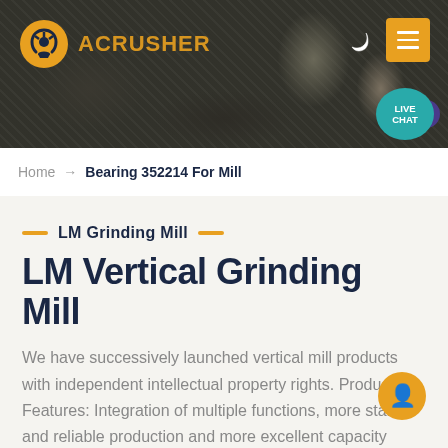[Figure (screenshot): Website header with dark rocky quarry/mining background image, orange logo on left, moon icon and yellow hamburger menu button on right, teal 'LIVE CHAT' bubble in lower right of header]
ACRUSHER
Home → Bearing 352214 For Mill
LM Grinding Mill
LM Vertical Grinding Mill
We have successively launched vertical mill products with independent intellectual property rights. Product Features: Integration of multiple functions, more stable and reliable production and more excellent capacity